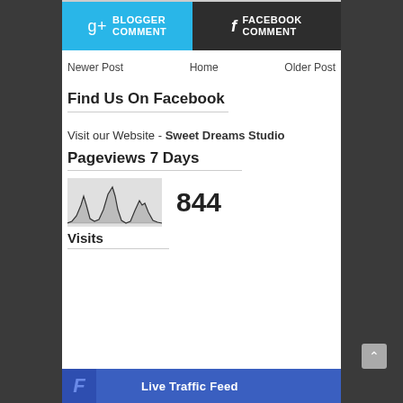[Figure (other): Two comment buttons side by side: Blogger Comment (blue/cyan) and Facebook Comment (dark gray), with g+ and f icons respectively]
Newer Post   Home   Older Post
Find Us On Facebook
Visit our Website - Sweet Dreams Studio
Pageviews 7 Days
[Figure (continuous-plot): Small area/line chart showing website traffic spikes over 7 days, with two prominent peaks]
844
Visits
Live Traffic Feed